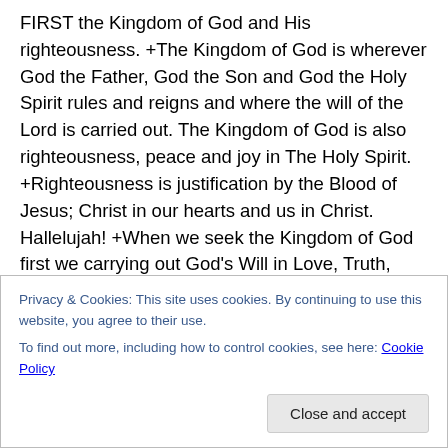FIRST the Kingdom of God and His righteousness. +The Kingdom of God is wherever God the Father, God the Son and God the Holy Spirit rules and reigns and where the will of the Lord is carried out. The Kingdom of God is also righteousness, peace and joy in The Holy Spirit. +Righteousness is justification by the Blood of Jesus; Christ in our hearts and us in Christ. Hallelujah! +When we seek the Kingdom of God first we carrying out God's Will in Love, Truth, Holiness, Righteousness and Faith in our hearts. +It is then that we meet the conditions where all the things of the Kingdom will be added unto us. Psalm
Privacy & Cookies: This site uses cookies. By continuing to use this website, you agree to their use.
To find out more, including how to control cookies, see here: Cookie Policy
Close and accept